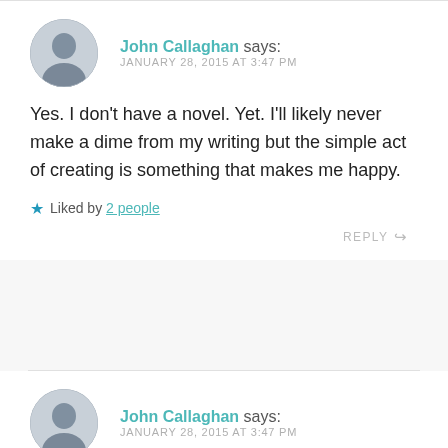John Callaghan says: JANUARY 28, 2015 AT 3:47 PM
Yes. I don't have a novel. Yet. I'll likely never make a dime from my writing but the simple act of creating is something that makes me happy.
Liked by 2 people
REPLY
John Callaghan says: JANUARY 28, 2015 AT 3:47 PM
And thank you,